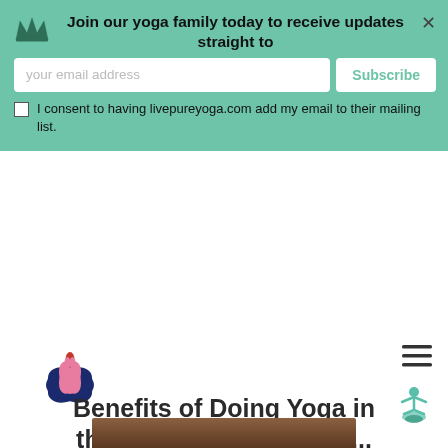Join our yoga family today to receive updates straight to
[Figure (screenshot): Email subscription input field with placeholder 'your email address']
Subscribe
I consent to having livepureyoga.com add my email to their mailing list.
[Figure (logo): Live Pure Yoga lotus flower logo in pink and dark navy blue]
[Figure (illustration): Hamburger menu icon (three horizontal lines)]
Benefits of Doing Yoga in the Morning and Poses...
Stretching in the morning is proven to be one of the best...
[Figure (illustration): Small teal yoga figure icon for scroll-to-top button]
[Figure (photo): Bottom edge of a photo showing yoga-related content]